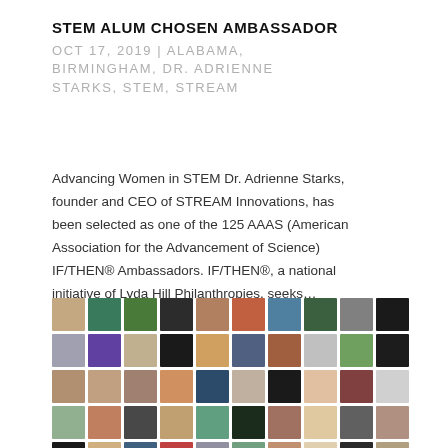STEM ALUM CHOSEN AMBASSADOR
OCT 17, 2019 | ALABAMA, BIRMINGHAM, DR. ADRIENNE STARKS, STEM, STREAM
Advancing Women in STEM Dr. Adrienne Starks, founder and CEO of STREAM Innovations, has been selected as one of the 125 AAAS (American Association for the Advancement of Science) IF/THEN® Ambassadors. IF/THEN®, a national initiative of Lyda Hill Philanthropies, seeks…
[Figure (photo): Grid of portrait photos of women STEM ambassadors, arranged in 5 rows of 10 photos each]